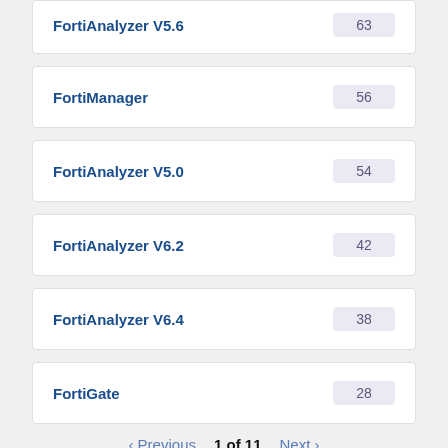FortiAnalyzer V5.6 — 63
FortiManager — 56
FortiAnalyzer V5.0 — 54
FortiAnalyzer V6.2 — 42
FortiAnalyzer V6.4 — 38
FortiGate — 28
‹ Previous   1 of 11   Next ›